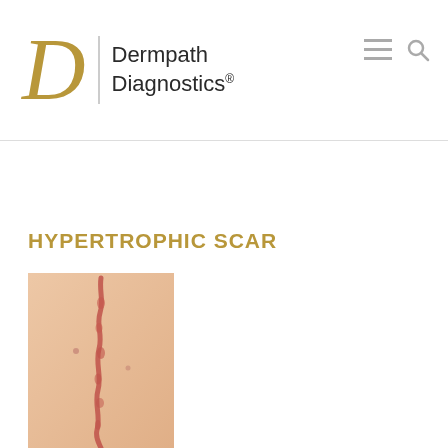[Figure (logo): Dermpath Diagnostics logo with stylized gold italic D, vertical divider line, and company name text]
[Figure (photo): Medical photograph of a hypertrophic scar running vertically down a person's torso/chest]
HYPERTROPHIC SCAR